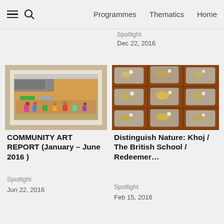Programmes  Thematics  Home
Spotlight
Dec 22, 2016
[Figure (photo): Exhibition photo showing a large photograph of an Indian street market scene with colorful shops and people, displayed on a white wall]
COMMUNITY ART REPORT (January – June 2016 )
Spotlight
Jun 22, 2016
[Figure (photo): Photo of multiple transparent plastic pouches laid out on a brown tile floor, each containing organic/floral materials and small white objects]
Distinguish Nature: Khoj / The British School / Redeemer…
Spotlight
Feb 15, 2016